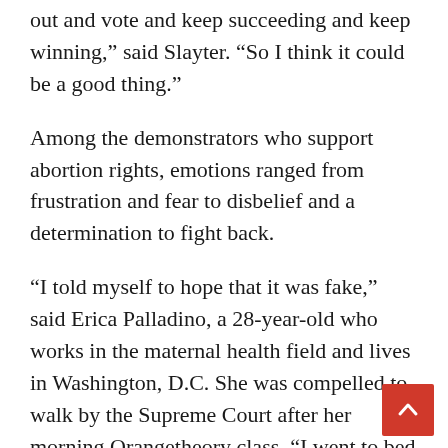out and vote and keep succeeding and keep winning,” said Slayter. “So I think it could be a good thing.”
Among the demonstrators who support abortion rights, emotions ranged from frustration and fear to disbelief and a determination to fight back.
“I told myself to hope that it was fake,” said Erica Palladino, a 28-year-old who works in the maternal health field and lives in Washington, D.C. She was compelled to walk by the Supreme Court after her morning Orangetheory class. “I went to bed just saying, ‘OK, like, you’ll wake up and everything will be OK, we’re not going to go back 50 years.’ And, instead, I woke up and realized it was true.”